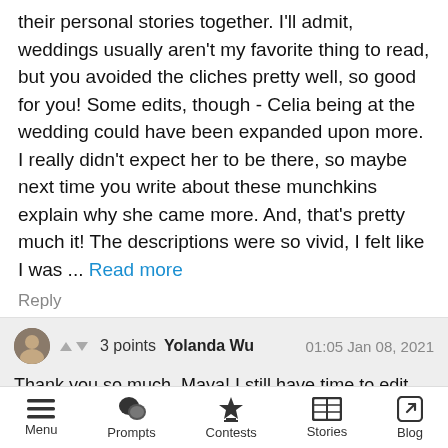their personal stories together. I'll admit, weddings usually aren't my favorite thing to read, but you avoided the cliches pretty well, so good for you! Some edits, though - Celia being at the wedding could have been expanded upon more. I really didn't expect her to be there, so maybe next time you write about these munchkins explain why she came more. And, that's pretty much it! The descriptions were so vivid, I felt like I was ... Read more
Reply
3 points  Yolanda Wu  01:05 Jan 08, 2021
Thank you so much, Maya! I still have time to edit, so maybe I'll find a place where I can explain Celia being there. I haven't actually written a wedding
Menu  Prompts  Contests  Stories  Blog